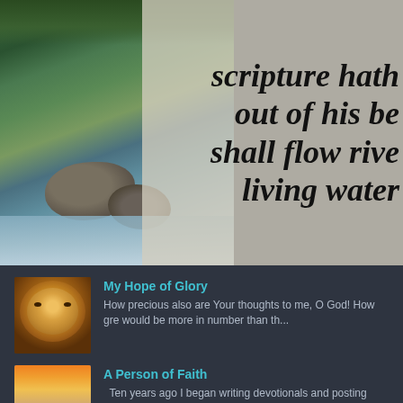[Figure (photo): A river/stream scene with mossy rocks and flowing water on the left, overlaid on the right with a semi-transparent beige panel showing large bold italic scripture text reading 'scripture hath out of his be shall flow rive living water']
scripture hath out of his be shall flow rive living water
[Figure (photo): Thumbnail image of a lion with golden mane]
My Hope of Glory
How precious also are Your thoughts to me, O God! How gre would be more in number than th...
[Figure (photo): Thumbnail image with sunset sky and silhouette figure]
A Person of Faith
Ten years ago I began writing devotionals and posting them devotional I wrote in August of...